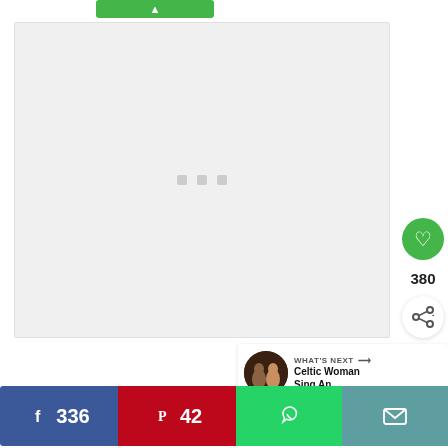[Figure (screenshot): Green button with up arrow at top, large light gray content placeholder box with three small gray squares (loading dots) in the center, green heart/like button (380 count), share button, and a 'What's Next' recommendation panel showing 'Celtic Woman Sing An...' with a thumbnail]
380
WHAT'S NEXT → Celtic Woman Sing An...
[Figure (screenshot): Social share bar with Facebook (336), Pinterest (42), WhatsApp, and email buttons]